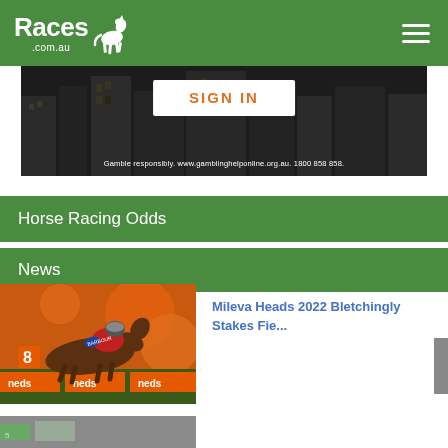Races .com.au
[Figure (screenshot): Advertisement banner with SIGN IN button and gambling responsibility disclaimer. Dark city skyline background.]
Horse Racing Odds
News
[Figure (photo): Horse racing photo showing jockey on horse number 8, racing at a track sponsored by Neds. Jockey wears red and blue silks.]
Mileva Heads 2022 Bletchingly Stakes Fie...